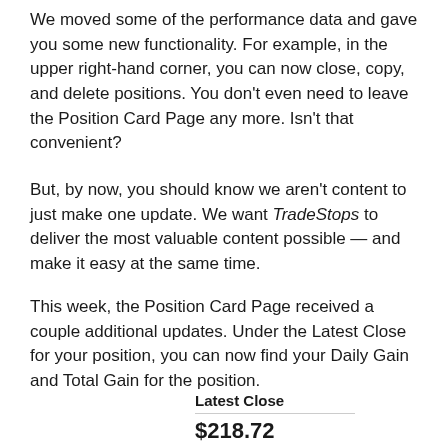We moved some of the performance data and gave you some new functionality. For example, in the upper right-hand corner, you can now close, copy, and delete positions. You don't even need to leave the Position Card Page any more. Isn't that convenient?
But, by now, you should know we aren't content to just make one update. We want TradeStops to deliver the most valuable content possible — and make it easy at the same time.
This week, the Position Card Page received a couple additional updates. Under the Latest Close for your position, you can now find your Daily Gain and Total Gain for the position.
| Latest Close |
| --- |
| $218.72 |